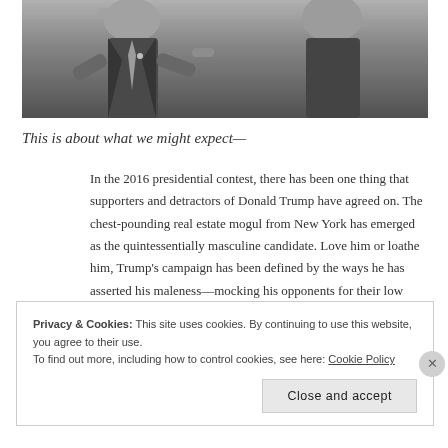[Figure (photo): Black and white photograph of a man in a suit and tie gesturing with both hands, with another person partially visible beside him.]
This is about what we might expect—
In the 2016 presidential contest, there has been one thing that supporters and detractors of Donald Trump have agreed on. The chest-pounding real estate mogul from New York has emerged as the quintessentially masculine candidate. Love him or loathe him, Trump's campaign has been defined by the ways he has asserted his maleness—mocking his opponents for their low energy, bullying his critics, sneering at perceived weakness, boasting of his sexual prowess, vowing to hit back twice as hard as he's been hit.
Privacy & Cookies: This site uses cookies. By continuing to use this website, you agree to their use.
To find out more, including how to control cookies, see here: Cookie Policy
Close and accept